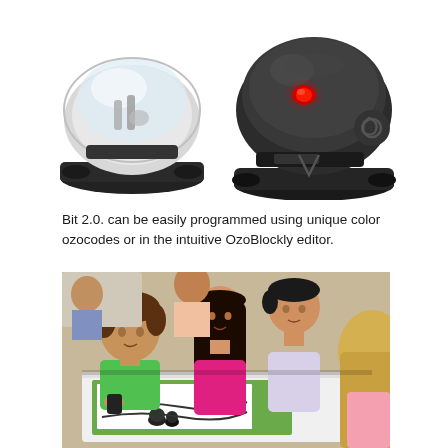[Figure (photo): Two Ozobot Bit 2.0 robots side by side — one white/silver transparent on the left and one dark/black with a red LED light on the right, on a white background.]
Bit 2.0. can be easily programmed using unique color ozocodes or in the intuitive OzoBlockly editor.
[Figure (photo): Four children (two boys and two girls) sitting around a white table, looking down and interacting with Ozobot robots on a paper track. One boy wears a green shirt, one girl wears a bright pink hoodie.]